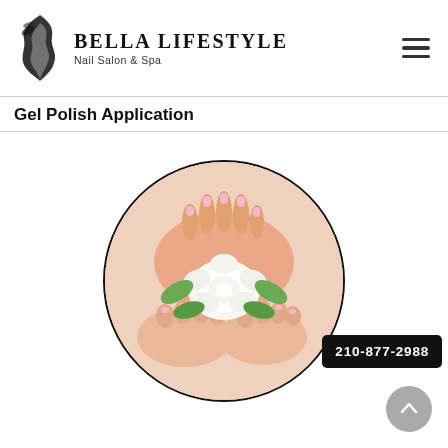[Figure (logo): Bella Lifestyle Nail Salon & Spa logo with stylized flame/bird silhouette and text]
Gel Polish Application
[Figure (photo): Circular photo of manicured and pedicured hands and feet with pink gel nails resting on white roses and green leaves]
210-877-2988